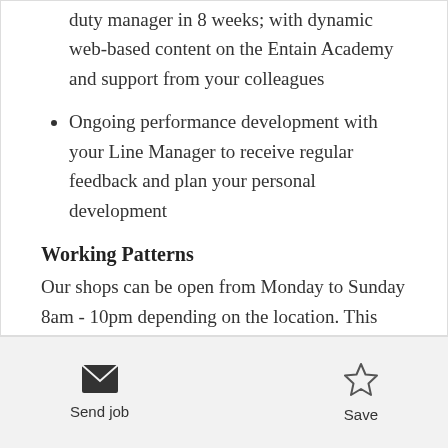duty manager in 8 weeks; with dynamic web-based content on the Entain Academy and support from your colleagues
Ongoing performance development with your Line Manager to receive regular feedback and plan your personal development
Working Patterns
Our shops can be open from Monday to Sunday 8am - 10pm depending on the location. This includes weekends and bank holidays.
[Figure (other): Envelope icon for Send job action]
Send job
[Figure (other): Star icon for Save action]
Save